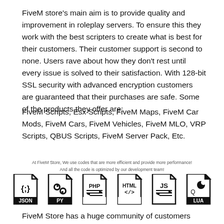FiveM store's main aim is to provide quality and improvement in roleplay servers. To ensure this they work with the best scripters to create what is best for their customers. Their customer support is second to none. Users rave about how they don't rest until every issue is solved to their satisfaction. With 128-bit SSL security with advanced encryption customers are guaranteed that their purchases are safe. Some of the products they offer are:
FiveM Scripts, Esx Scripts, FiveM Maps, FiveM Car Mods, FiveM Cars, FiveM Vehicles, FiveM MLO, VRP Scripts, QBUS Scripts, FiveM Server Pack, Etc.
At FiveM Store, We use codes that are more efficient and provide more performance!
And all the code is optimized by our development team!
[Figure (illustration): Six file type icons in a row: JSON, PY, PHP, HTML, JS, LUA]
FiveM Store has a huge community of customers who come back when